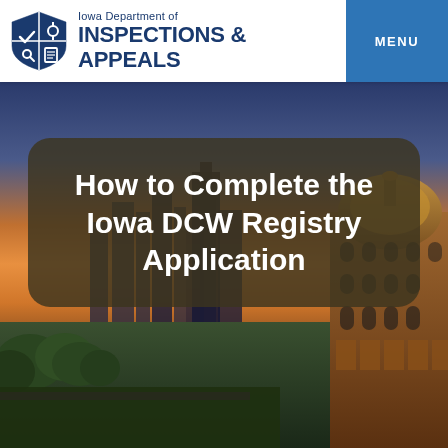Iowa Department of Inspections & Appeals
[Figure (screenshot): Iowa Department of Inspections & Appeals website header with shield logo and MENU button]
[Figure (photo): Aerial photo of Iowa cityscape and capitol building at sunset with warm orange sky]
How to Complete the Iowa DCW Registry Application